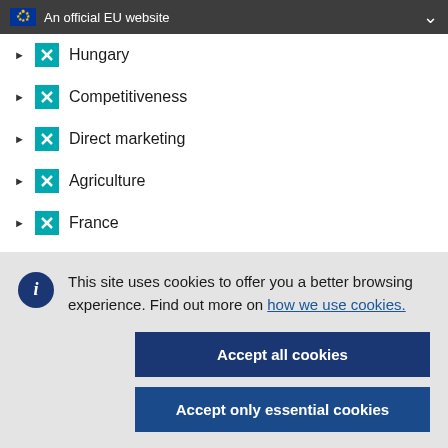An official EU website
Hungary
Competitiveness
Direct marketing
Agriculture
France
M16: Cooperation
This site uses cookies to offer you a better browsing experience. Find out more on how we use cookies.
Accept all cookies
Accept only essential cookies